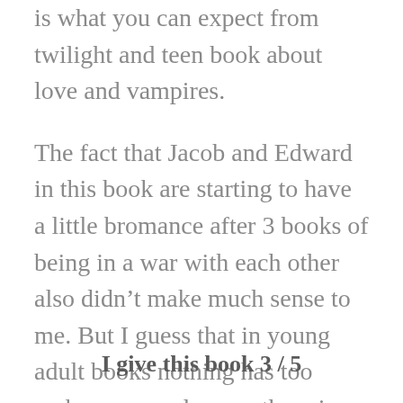is what you can expect from twilight and teen book about love and vampires.
The fact that Jacob and Edward in this book are starting to have a little bromance after 3 books of being in a war with each other also didn't make much sense to me. But I guess that in young adult books nothing has too make sense as long as there is werewolves, vampires, a shy main character with not much friends and a small town.
I give this book 3 / 5